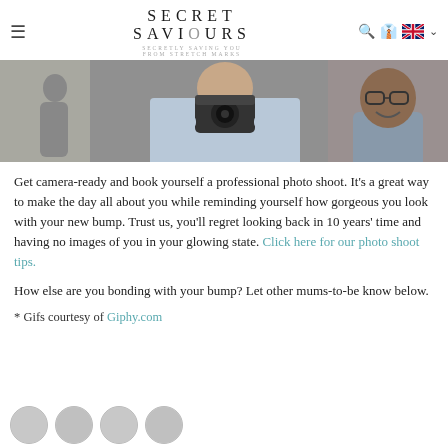SECRET SAVIOURS — SECRETLY SAVING YOU FROM STRETCH MARKS
[Figure (photo): A photo strip showing three people: a person on the left, a person in the center taking a mirror selfie with a camera, and a smiling man with glasses on the right.]
Get camera-ready and book yourself a professional photo shoot. It's a great way to make the day all about you while reminding yourself how gorgeous you look with your new bump. Trust us, you'll regret looking back in 10 years' time and having no images of you in your glowing state. Click here for our photo shoot tips.
How else are you bonding with your bump? Let other mums-to-be know below.
* Gifs courtesy of Giphy.com